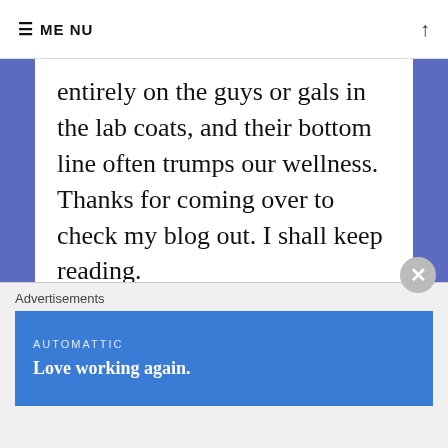≡ MENU ↑
entirely on the guys or gals in the lab coats, and their bottom line often trumps our wellness.
Thanks for coming over to check my blog out. I shall keep reading.
★ Liked by 1 person
REPLY
Advertisements
AUTOMATTIC
Love working again.